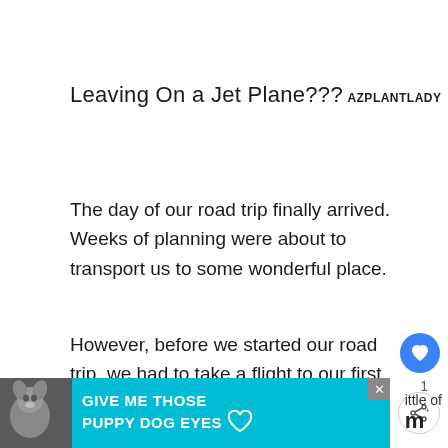Leaving On a Jet Plane???
AZPLANTLADY
The day of our road trip finally arrived.  Weeks of planning were about to transport us to some wonderful place.
However, before we started our road trip, we had to take a flight to our first destination – Charleston, SC.
We got to the airport in plenty of time, the security
[Figure (screenshot): Ad banner at bottom: teal background with dog image and text 'GIVE ME THOSE PUPPY DOG EYES' with heart outline, close button, and partial site logo at right]